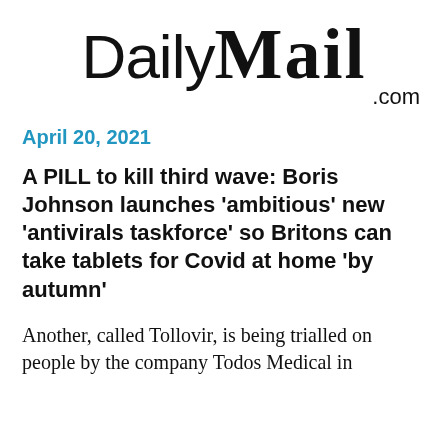[Figure (logo): Daily Mail .com logo — 'Daily' in sans-serif and 'Mail' in bold blackletter style, with '.com' right-aligned below]
April 20, 2021
A PILL to kill third wave: Boris Johnson launches 'ambitious' new 'antivirals taskforce' so Britons can take tablets for Covid at home 'by autumn'
Another, called Tollovir, is being trialled on people by the company Todos Medical in